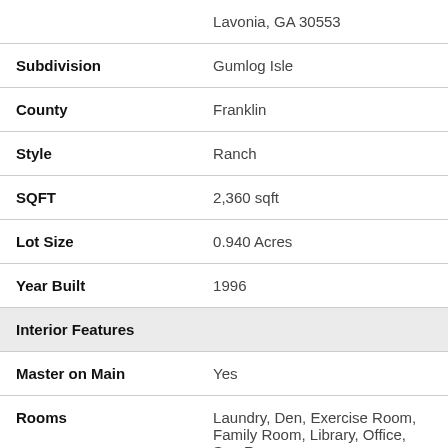| Field | Value |
| --- | --- |
|  | Lavonia, GA 30553 |
| Subdivision | Gumlog Isle |
| County | Franklin |
| Style | Ranch |
| SQFT | 2,360 sqft |
| Lot Size | 0.940 Acres |
| Year Built | 1996 |
| Interior Features |  |
| Master on Main | Yes |
| Rooms | Laundry, Den, Exercise Room, Family Room, Library, Office, Sun Room |